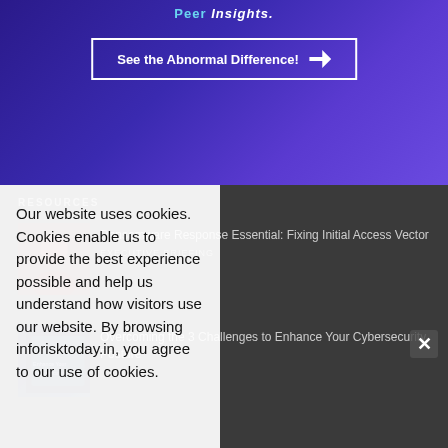[Figure (screenshot): Purple gradient banner with 'Peer Insights' logo and 'See the Abnormal Difference!' CTA button with arrow]
RESOURCES
[Figure (photo): Thumbnail of a person (speaker/presenter)]
Ransomware Response Essential: Fixing Initial Access Vector
[Figure (photo): Thumbnail of a book/report cover about cybersecurity posture]
Overcoming the 3 Challenges to Enhance Your Cybersecurity Posture
Our website uses cookies. Cookies enable us to provide the best experience possible and help us understand how visitors use our website. By browsing inforisktoday.in, you agree to our use of cookies.